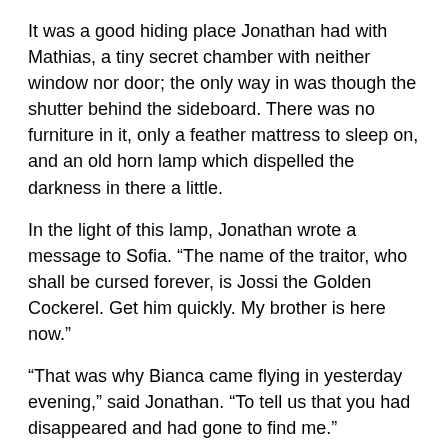It was a good hiding place Jonathan had with Mathias, a tiny secret chamber with neither window nor door; the only way in was though the shutter behind the sideboard. There was no furniture in it, only a feather mattress to sleep on, and an old horn lamp which dispelled the darkness in there a little.
In the light of this lamp, Jonathan wrote a message to Sofia. “The name of the traitor, who shall be cursed forever, is Jossi the Golden Cockerel. Get him quickly. My brother is here now.”
“That was why Bianca came flying in yesterday evening,” said Jonathan. “To tell us that you had disappeared and had gone to find me.”
“Just think, that means Sofia understood the puzzle I wrote on the kitchen wall,” I said. “When she came with the soup.”
“What puzzle?” said Jonathan.
“I’ve gone to find him far, far away beyond the mountains.”